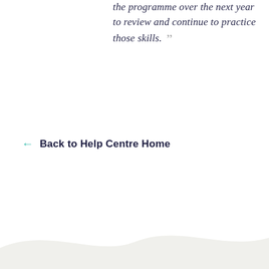the programme over the next year to review and continue to practice those skills. ”
← Back to Help Centre Home